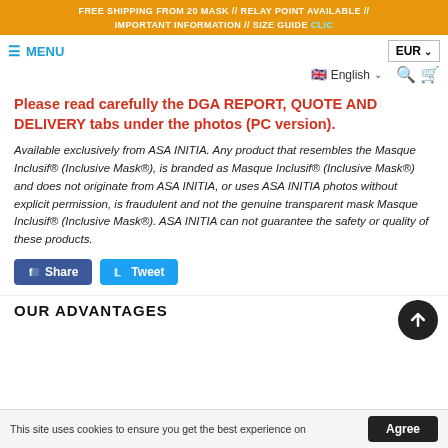FREE SHIPPING FROM 20 MASK // RELAY POINT AVAILABLE // IMPORTANT INFORMATION // SIZE GUIDE CLIC
MENU | EUR | English
Please read carefully the DGA REPORT, QUOTE AND DELIVERY tabs under the photos (PC version).
Available exclusively from ASA INITIA. Any product that resembles the Masque Inclusif® (Inclusive Mask®), is branded as Masque Inclusif® (Inclusive Mask®) and does not originate from ASA INITIA, or uses ASA INITIA photos without explicit permission, is fraudulent and not the genuine transparent mask Masque Inclusif® (Inclusive Mask®). ASA INITIA can not guarantee the safety or quality of these products.
Share | Tweet
OUR ADVANTAGES
This site uses cookies to ensure you get the best experience on